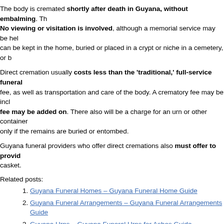The body is cremated shortly after death in Guyana, without embalming. No viewing or visitation is involved, although a memorial service may be held. The ashes can be kept in the home, buried or placed in a crypt or niche in a cemetery, or buried.
Direct cremation usually costs less than the 'traditional,' full-service funeral because it includes only the basic services fee, as well as transportation and care of the body. A crematory fee may be included or a separate crematory fee may be added on. There also will be a charge for an urn or other container for the ashes, and a cemetery fee only if the remains are buried or entombed.
Guyana funeral providers who offer direct cremations also must offer to provide an alternative container instead of a casket.
Related posts:
Guyana Funeral Homes – Guyana Funeral Home Guide
Guyana Funeral Arrangements – Guyana Funeral Arrangements Guide
Guyana Urns – Guyana Funeral Urns for Ashes Guide
Guyana Funeral Services – Guyana Funeral Services Professionals
La Paz Burial Arrangements – La Paz Burial Arrangement Guide